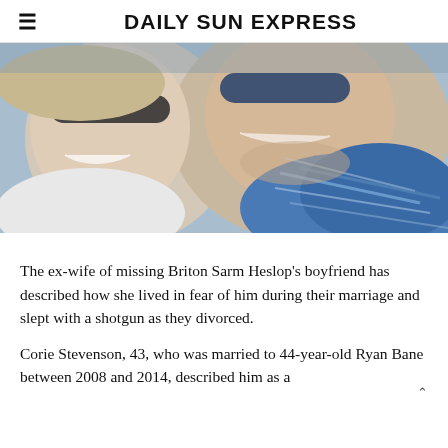DAILY SUN EXPRESS
[Figure (photo): Selfie photo of two smiling adults wearing sunglasses outdoors. Woman on the left in white top, man on the right in blue patterned shirt.]
The ex-wife of missing Briton Sarm Heslop's boyfriend has described how she lived in fear of him during their marriage and slept with a shotgun as they divorced.
Corie Stevenson, 43, who was married to 44-year-old Ryan Bane between 2008 and 2014, described him as a